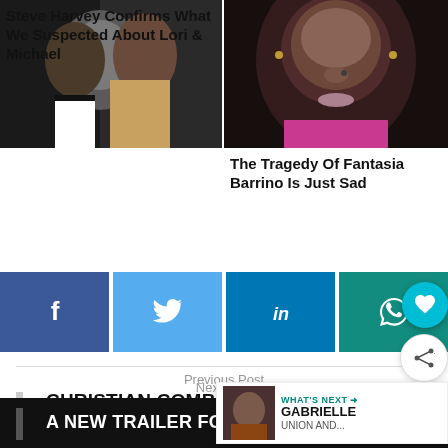[Figure (photo): Photo of Steve Harvey with a woman, formal attire, dark background]
[Figure (photo): Close-up photo of Fantasia Barrino with nose ring, pink outfit]
Steve Harvey Confirms What We Suspected About Lori & Michael
The Tragedy Of Fantasia Barrino Is Just Sad
[Figure (infographic): Social share buttons: Facebook, Twitter, LinkedIn, WhatsApp]
Previous Post
CHRISTIAN COMBS SIGNS WITH IMG MODELS
Next Post
A NEW TRAILER FOR 'TOMB RAIDE
[Figure (photo): WHAT'S NEXT overlay with Gabrielle Union photo and text: GABRIELLE UNION AND...]